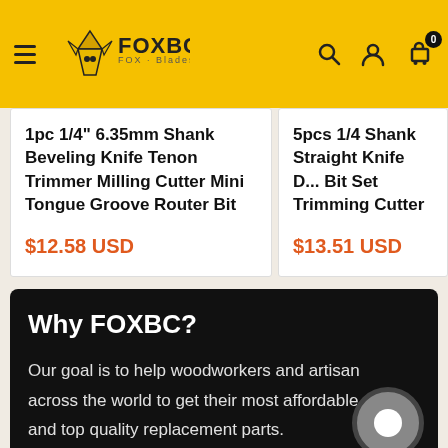FOXBC - FOX Blades Cutting
1pc 1/4" 6.35mm Shank Beveling Knife Tenon Trimmer Milling Cutter Mini Tongue Groove Router Bit
$12.58 USD
5pcs 1/4 Shank Straight Knife D... Bit Set Trimming Cutter
$13.51 USD
Why FOXBC?
Our goal is to help woodworkers and artisans across the world to get their most affordable and top quality replacement parts.